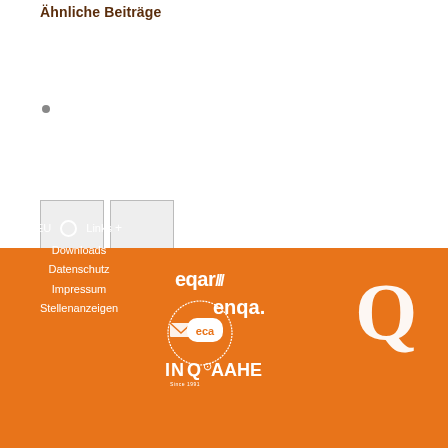Ähnliche Beiträge
•
[Figure (other): Two grey navigation button boxes side by side]
EU  🌐  Links +
Downloads
Datenschutz
Impressum
Stellenanzeigen
[Figure (logo): eqar, enqa, eca, INQAAHE logos in orange footer]
[Figure (logo): Large Q logo in white on orange background]